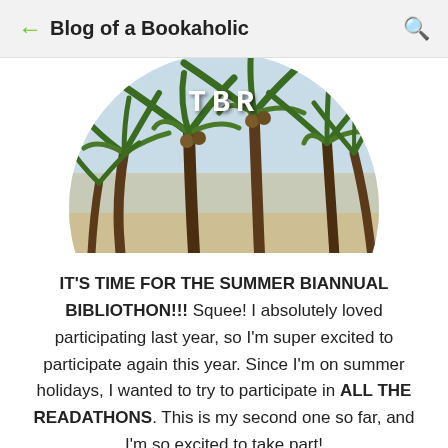Blog of a Bookaholic
[Figure (photo): A circular cropped photo of palm trees against a blue-beige sky, with 'TBR' text overlay in white monospace font at the top center]
IT'S TIME FOR THE SUMMER BIANNUAL BIBLIOTHON!!! Squee! I absolutely loved participating last year, so I'm super excited to participate again this year. Since I'm on summer holidays, I wanted to try to participate in ALL THE READATHONS. This is my second one so far, and I'm so excited to take part!